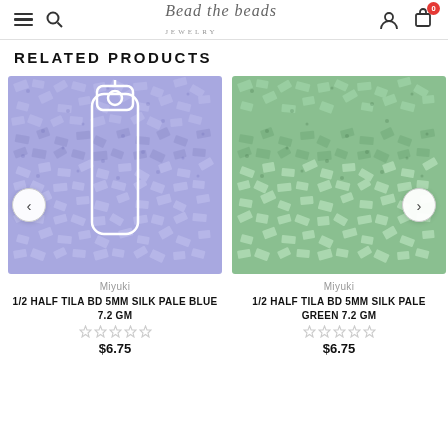Bead the Beads Jewelry – navigation header with menu, search, logo, user, and cart icons
RELATED PRODUCTS
[Figure (photo): Close-up photo of pale blue Miyuki half tila beads with a tube container icon overlay]
Miyuki
1/2 HALF TILA BD 5MM SILK PALE BLUE 7.2 GM
$6.75
[Figure (photo): Close-up photo of pale green Miyuki half tila beads]
Miyuki
1/2 HALF TILA BD 5MM SILK PALE GREEN 7.2 GM
$6.75